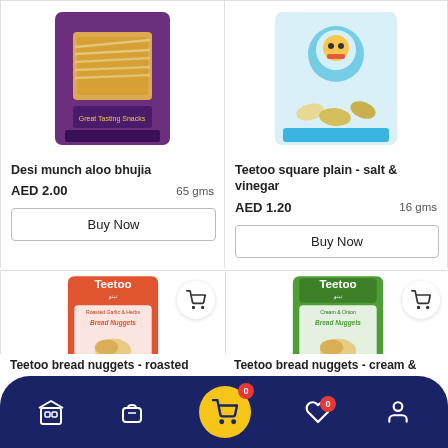[Figure (photo): Desi munch aloo bhujia snack bag, purple packaging with yellow noodle-like snacks]
Desi munch aloo bhujia
AED 2.00    65 gms
Buy Now
[Figure (photo): Teetoo square plain salt & vinegar snack bag, white/blue packaging with cartoon mascot]
Teetoo square plain - salt & vinegar
AED 1.20    16 gms
Buy Now
[Figure (photo): Teetoo bread nuggets roasted garlic & herbs, orange packaging]
Teetoo bread nuggets - roasted
[Figure (photo): Teetoo bread nuggets cream & onion, green packaging]
Teetoo bread nuggets - cream &